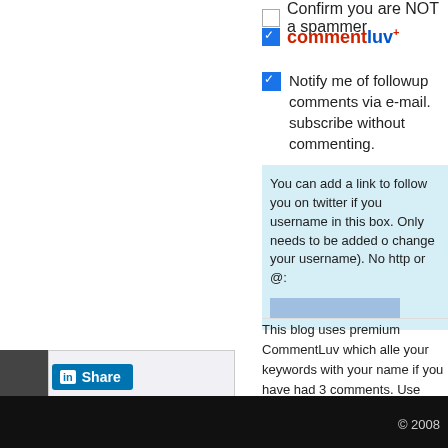Confirm you are NOT a spammer
commentluv+
Notify me of followup comments via e-mail. subscribe without commenting.
You can add a link to follow you on twitter if you username in this box. Only needs to be added o change your username). No http or @:
This blog uses premium CommentLuv which alle your keywords with your name if you have had 3 comments. Use your real name and then @ you (maximum of 3)
Share
© 2008